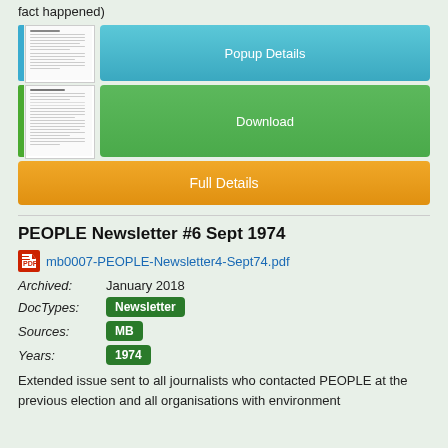fact happened)
[Figure (screenshot): Two thumbnail previews of document pages stacked vertically with colored left accent bars (teal and green)]
Popup Details
Download
Full Details
PEOPLE Newsletter #6 Sept 1974
mb0007-PEOPLE-Newsletter4-Sept74.pdf
Archived:   January 2018
DocTypes: Newsletter
Sources: MB
Years: 1974
Extended issue sent to all journalists who contacted PEOPLE at the previous election and all organisations with environment